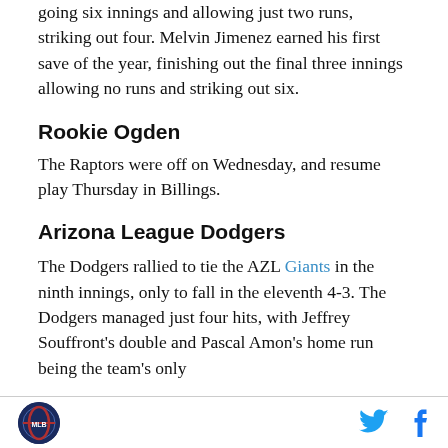going six innings and allowing just two runs, striking out four. Melvin Jimenez earned his first save of the year, finishing out the final three innings allowing no runs and striking out six.
Rookie Ogden
The Raptors were off on Wednesday, and resume play Thursday in Billings.
Arizona League Dodgers
The Dodgers rallied to tie the AZL Giants in the ninth innings, only to fall in the eleventh 4-3. The Dodgers managed just four hits, with Jeffrey Souffront's double and Pascal Amon's home run being the team's only
Logo | Twitter | Facebook